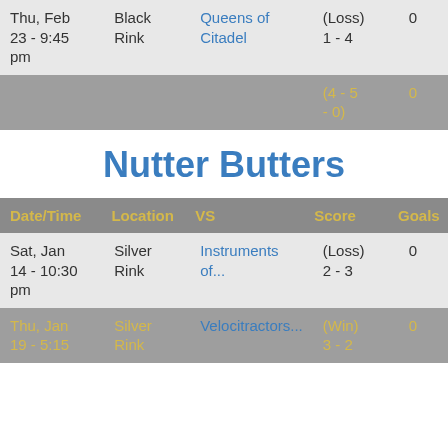| Date/Time | Location | VS | Score | Goals |
| --- | --- | --- | --- | --- |
| Thu, Feb 23 - 9:45 pm | Black Rink | Queens of Citadel | (Loss) 1 - 4 | 0 |
|  |  |  | (4 - 5 - 0) | 0 |
Nutter Butters
| Date/Time | Location | VS | Score | Goals |
| --- | --- | --- | --- | --- |
| Sat, Jan 14 - 10:30 pm | Silver Rink | Instruments of... | (Loss) 2 - 3 | 0 |
| Thu, Jan 19 - 5:15 | Silver Rink | Velocitractors... | (Win) 3 - 2 | 0 |